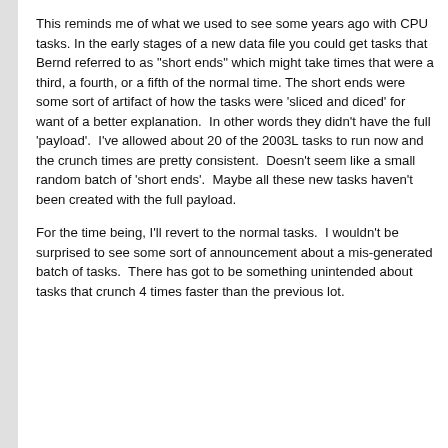This reminds me of what we used to see some years ago with CPU tasks. In the early stages of a new data file you could get tasks that Bernd referred to as "short ends" which might take times that were a third, a fourth, or a fifth of the normal time. The short ends were some sort of artifact of how the tasks were 'sliced and diced' for want of a better explanation.  In other words they didn't have the full 'payload'.  I've allowed about 20 of the 2003L tasks to run now and the crunch times are pretty consistent.  Doesn't seem like a small random batch of 'short ends'.  Maybe all these new tasks haven't been created with the full payload.
For the time being, I'll revert to the normal tasks.  I wouldn't be surprised to see some sort of announcement about a mis-generated batch of tasks.  There has got to be something unintended about tasks that crunch 4 times faster than the previous lot.